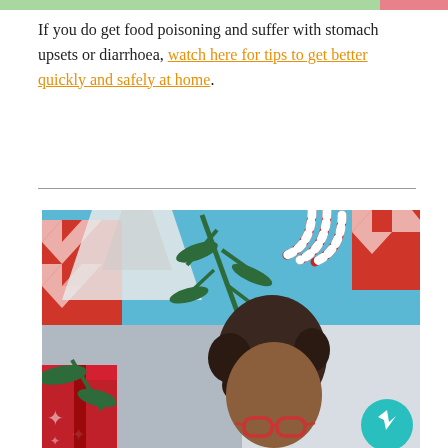If you do get food poisoning and suffer with stomach upsets or diarrhoea, watch here for tips to get better quickly and safely at home.
[Figure (photo): Christmas themed photo collage: top half shows holiday decorations including red and white chevron wrapping paper, candy canes, pine branches on a blue background; bottom half shows a woman with curly hair and red-framed glasses looking down, with Christmas gifts visible on the left side. A teal Messenger chat button is overlaid in the bottom right corner.]